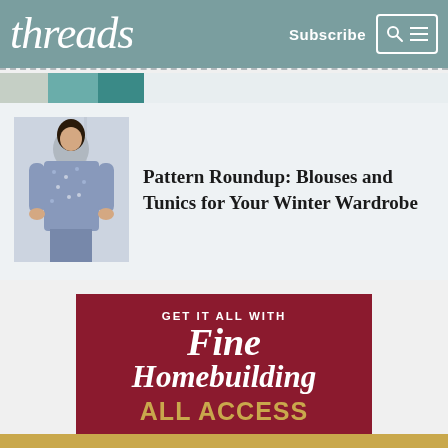threads  Subscribe
Pattern Roundup: Blouses and Tunics for Your Winter Wardrobe
[Figure (illustration): Advertisement banner for Fine Homebuilding All Access subscription: dark red background with white serif logo text 'Fine Homebuilding', gold text 'ALL ACCESS', and white text listing 'Complete site access', 'Online Archive', 'Print Subscription' each followed by a gold checkmark. Header reads 'GET IT ALL WITH' in white caps.]
GET IT ALL WITH Fine Homebuilding ALL ACCESS — Complete site access ✓  Online Archive ✓  Print Subscription ✓